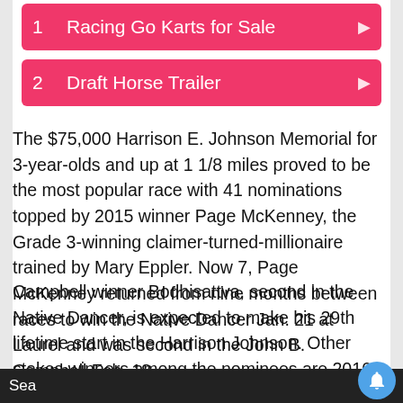1  Racing Go Karts for Sale
2  Draft Horse Trailer
The $75,000 Harrison E. Johnson Memorial for 3-year-olds and up at 1 1/8 miles proved to be the most popular race with 41 nominations topped by 2015 winner Page McKenney, the Grade 3-winning claimer-turned-millionaire trained by Mary Eppler. Now 7, Page McKenney returned from nine months between races to win the Native Dancer Jan. 21 at Laurel and was second in the John B. Campbell Feb. 18.
Campbell winner Bodhisattva, second in the Native Dancer, is expected to make his 29th lifetime start in the Harrison Johnson. Other stakes winners among the nominees are 2016 Cornhusker (G3) winner Smack Smack and 2015 Harrison Johnson runner-up Adirondack King, Charitable Annuity, while Harpoon, Mr